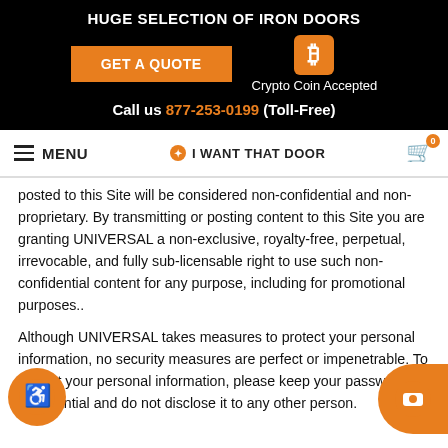HUGE SELECTION OF IRON DOORS
[Figure (screenshot): Orange GET A QUOTE button and Bitcoin crypto coin accepted logo with text]
Call us 877-253-0199 (Toll-Free)
MENU | I WANT THAT DOOR | Cart 0
posted to this Site will be considered non-confidential and non-proprietary. By transmitting or posting content to this Site you are granting UNIVERSAL a non-exclusive, royalty-free, perpetual, irrevocable, and fully sub-licensable right to use such non-confidential content for any purpose, including for promotional purposes..
Although UNIVERSAL takes measures to protect your personal information, no security measures are perfect or impenetrable. To protect your personal information, please keep your password confidential and do not disclose it to any other person.
DISCLAIMER